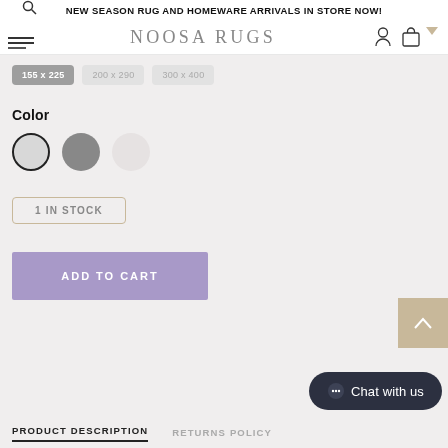NEW SEASON RUG AND HOMEWARE ARRIVALS IN STORE NOW!
[Figure (screenshot): Noosa Rugs navigation bar with hamburger menu icon on left, NOOSA RUGS logo in center, user and cart icons on right]
[Figure (screenshot): Size selector buttons showing three size options, first active in grey]
Color
[Figure (screenshot): Three color swatches: light grey (selected with border), medium grey, and pale/white]
1 IN STOCK
ADD TO CART
Chat with us
PRODUCT DESCRIPTION
RETURNS POLICY